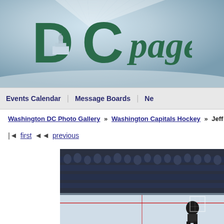[Figure (logo): DCpages logo with DC Capitol building image on a blue-grey gradient banner background with light rays]
Events Calendar   Message Boards   New
Washington DC Photo Gallery » Washington Capitals Hockey » Jeff Frie
|◄ first ◄◄ previous
[Figure (photo): Washington Capitals hockey game photo showing crowd in stands and rink area, partially cropped]